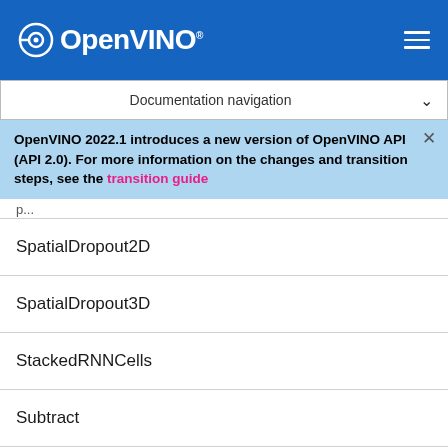OpenVINO
Documentation navigation
OpenVINO 2022.1 introduces a new version of OpenVINO API (API 2.0). For more information on the changes and transition steps, see the transition guide
SpatialDropout2D
SpatialDropout3D
StackedRNNCells
Subtract
ThresholdedReLU